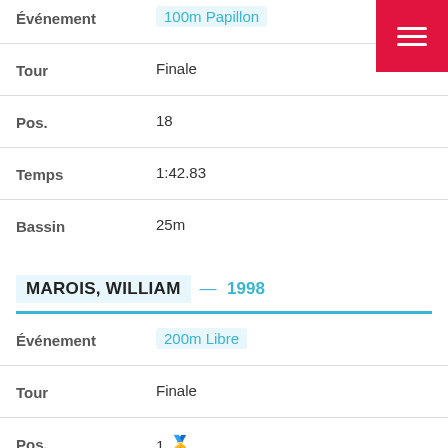| Field | Value |
| --- | --- |
| Événement | 100m Papillon |
| Tour | Finale |
| Pos. | 18 |
| Temps | 1:42.83 |
| Bassin | 25m |
MAROIS, WILLIAM — 1998
| Field | Value |
| --- | --- |
| Événement | 200m Libre |
| Tour | Finale |
| Pos. | 1 🥇 |